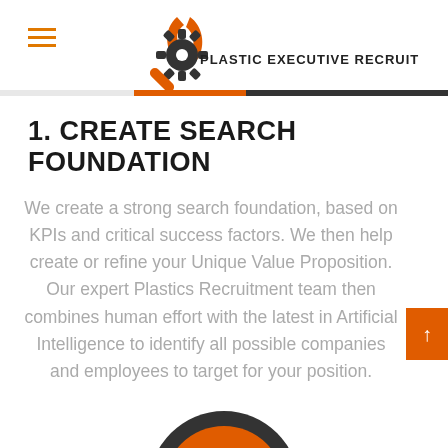PLASTIC EXECUTIVE RECRUIT
1. CREATE SEARCH FOUNDATION
We create a strong search foundation, based on KPIs and critical success factors. We then help create or refine your Unique Value Proposition. Our expert Plastics Recruitment team then combines human effort with the latest in Artificial Intelligence to identify all possible companies and employees to target for your position.
[Figure (illustration): Partial circular logo/icon visible at the bottom, dark grey and orange colors]